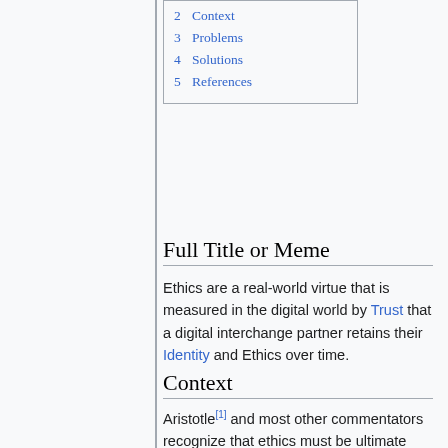2  Context
3  Problems
4  Solutions
5  References
Full Title or Meme
Ethics are a real-world virtue that is measured in the digital world by Trust that a digital interchange partner retains their Identity and Ethics over time.
Context
Aristotle[1] and most other commentators recognize that ethics must be ultimate focused on the end goal of providing some good for others. The utility function is defined[2] as providing the greatest good for the greatest number. In tribal society ethics only extends to the